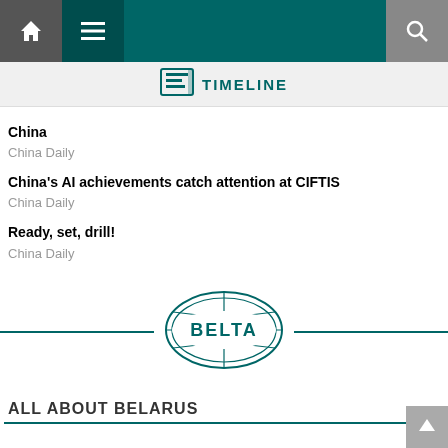TIMELINE
China
China Daily
China's AI achievements catch attention at CIFTIS
China Daily
Ready, set, drill!
China Daily
[Figure (logo): BELTA logo - oval globe emblem with BELTA text, teal color, flanked by horizontal lines]
ALL ABOUT BELARUS